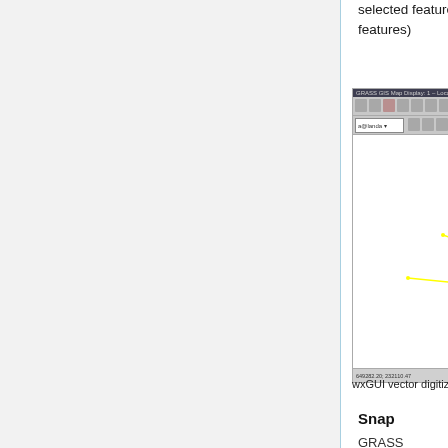selected features, unselect features)
[Figure (screenshot): GRASS GIS Map Display window showing vector digitizer with yellow linear features selected. Title bar reads 'GRASS GIS Map Display: 1 - Location: nc_spm_08'. Status bar shows coordinates '649282.20; 232110.47' and 'Coordinates'.]
wxGUI vector digitizer - select linear feature for
Snap
GRASS